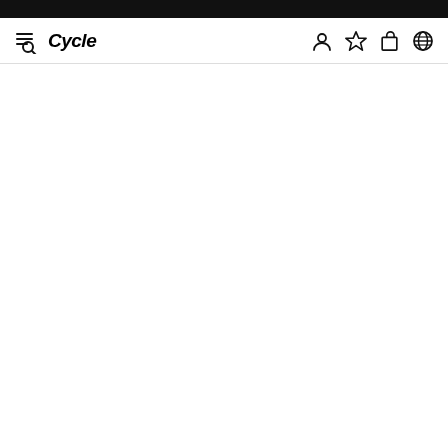[Figure (screenshot): Navigation bar with hamburger+search icon, Cycle brand logo in italic bold, and right-side icons: user account, star/wishlist, shopping bag, globe/language]
HOME / WESTERN COSMOS SHIRTS -WHITE- *LAST1